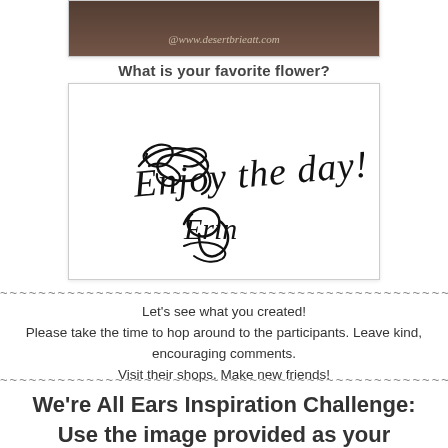[Figure (photo): Top portion of a blog/website screenshot showing a dark brownish image with text '@www.desertbrieatt.com' at the bottom]
What is your favorite flower?
[Figure (photo): Handwritten signature in cursive script reading 'Enjoy the day!' followed by a cursive initial/signature, on white background]
~~~~~~~~~~~~~~~~~~~~~~~~~~~~~~~~~~~~~~~~~~~~~~~~~~~~
Let's see what you created!
Please take the time to hop around to the participants. Leave kind, encouraging comments.
Visit their shops. Make new friends!
~~~~~~~~~~~~~~~~~~~~~~~~~~~~~~~~~~~~~~~~~~~~~~~~~~~~
We're All Ears Inspiration Challenge:
Use the image provided as your